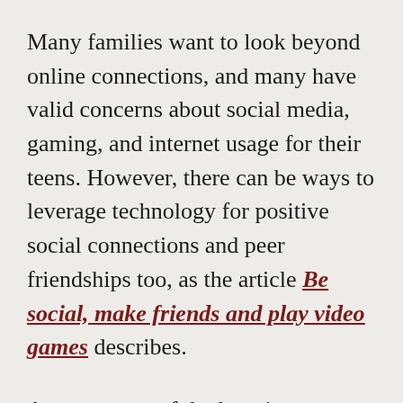Many families want to look beyond online connections, and many have valid concerns about social media, gaming, and internet usage for their teens. However, there can be ways to leverage technology for positive social connections and peer friendships too, as the article Be social, make friends and play video games describes.
A component of the learning community at Davidson Academy Online is based on exploring, discussing, and supporting the social and emotional needs of students. Throughout the school year, students participate in a variety of activities both online with their classmates and in their local...